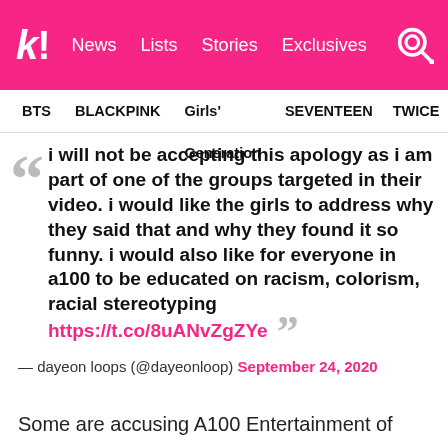K! News   Lists   Stories   Exclusives
BTS   BLACKPINK   Girls' Generation   SEVENTEEN   TWICE
i will not be accepting this apology as i am part of one of the groups targeted in their video. i would like the girls to address why they said that and why they found it so funny. i would also like for everyone in a100 to be educated on racism, colorism, racial stereotyping https://t.co/8uANvZgZYe
— dayeon loops (@dayeonloop) September 24, 2020
Some are accusing A100 Entertainment of